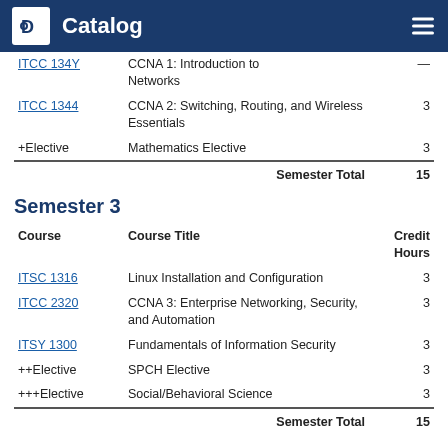Catalog
| Course | Course Title | Credit Hours |
| --- | --- | --- |
| ITCC 1344 | CCNA 2: Switching, Routing, and Wireless Essentials | 3 |
| +Elective | Mathematics Elective | 3 |
|  | Semester Total | 15 |
Semester 3
| Course | Course Title | Credit Hours |
| --- | --- | --- |
| ITSC 1316 | Linux Installation and Configuration | 3 |
| ITCC 2320 | CCNA 3: Enterprise Networking, Security, and Automation | 3 |
| ITSY 1300 | Fundamentals of Information Security | 3 |
| ++Elective | SPCH Elective | 3 |
| +++Elective | Social/Behavioral Science | 3 |
|  | Semester Total | 15 |